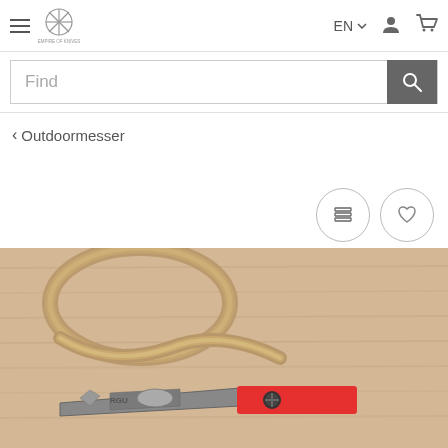Empire of Knives - EN navigation header with hamburger menu, logo, language selector, account and cart icons
Find
< Outdoormesser
[Figure (other): Two circular icon buttons: a list/comparison icon and a heart/wishlist icon]
[Figure (photo): Photo of a small multi-tool knife with a gray metal blade and red handle strap, lying on a wooden surface with rope in the background]